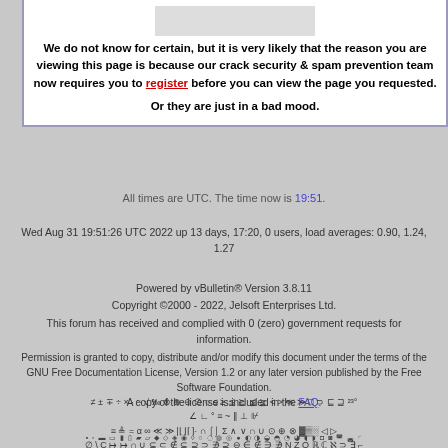We do not know for certain, but it is very likely that the reason you are viewing this page is because our crack security & spam prevention team now requires you to register before you can view the page you requested.
Or they are just in a bad mood.
All times are UTC. The time now is 19:51.
Wed Aug 31 19:51:26 UTC 2022 up 13 days, 17:20, 0 users, load averages: 0.90, 1.24, 1.27
Powered by vBulletin® Version 3.8.11
Copyright ©2000 - 2022, Jelsoft Enterprises Ltd.
This forum has received and complied with 0 (zero) government requests for information.
Permission is granted to copy, distribute and/or modify this document under the terms of the GNU Free Documentation License, Version 1.2 or any later version published by the Free Software Foundation.
A copy of the license is included in the FAQ.
≠ ± ∓ ÷ × · − √ ‰ ⊗ ⊕ ⊖ ∅ ○ ≤ ≥ ≦ ≧ ≨ ≩ < > ≪ ≫ □ ∃ ⊑ ⊒²³° ∠ ∟ ° ≡ ~ ‖ ⊥ ⊮ ≡ ≜ = α ∞ ≪ ≫ |⌊⌋⌈⌉· ∩ ⌠⌡ Σ ∧ ∨ ∩ ∪ ⊙ ⊕ ⊗ ▓▒░ ◁ ▷ ∅ \ C ↦ ↦ ∩ ∪ ⊆ ⊂ ∉ ⊆ ⊇ ⊃ ∌ ⊇ ⊖ ∈ ∉ ∋ ∌ N Z Q ℝ ℂ ℵ ⊃ ∃ ⌐ ∨ ∧ ⊕ → ← ⇒ ⇐ ⇔ ∀ ∃ ∃ ∴ ∵ ⊤ ⊥ ⊢ ⊨ ⊡ ⊣ … ⋯ ⋮ ⋱ ⋰. ∫ ∬ ∭ ƒ ƒ# ⊞ ∇ Δ δ ∂ ℱ ℒ ℓ
▪ ▫ ▬ ▭ ▮ ▯ ▰ ▱ ◆ ◇ ◈ ◉ ◊ ○ ◌ ◍ ◎ ● ◐ ◑ ◒ ◓ ◔ ◕ ◖ ◗ ◘ ◙ ◚ ◛ ◜